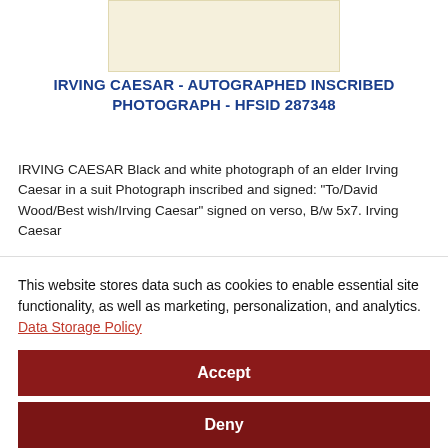[Figure (photo): Partial view of a light cream/beige colored photograph at the top of the page]
IRVING CAESAR - AUTOGRAPHED INSCRIBED PHOTOGRAPH - HFSID 287348
IRVING CAESAR Black and white photograph of an elder Irving Caesar in a suit Photograph inscribed and signed: "To/David Wood/Best wish/Irving Caesar" signed on verso, B/w 5x7. Irving Caesar
Sale Price $180.00   $200.00
This website stores data such as cookies to enable essential site functionality, as well as marketing, personalization, and analytics. Data Storage Policy
Accept
Deny